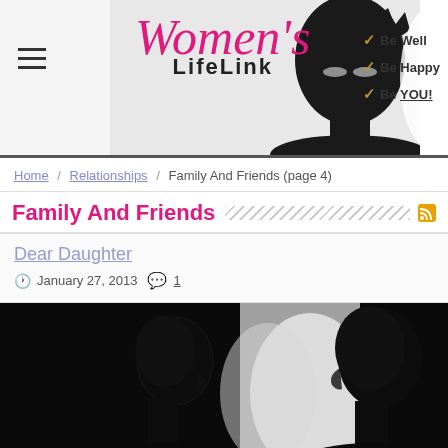[Figure (screenshot): Women's LifeLink website header banner with logo, hamburger menu, woman's face photo, and tagline 'Be Well, Be Happy, Be YOU!']
Home / Relationships / Family And Friends (page 4)
Family And Friends
Dear Daughter
January 27, 2013  1
[Figure (photo): Black and white silhouette photo of two people facing each other closely, likely a mother and daughter]